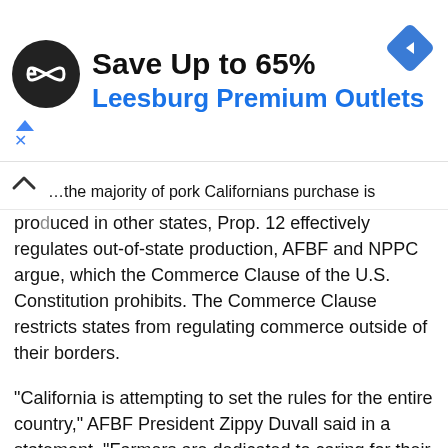[Figure (infographic): Advertisement banner: logo circle with infinity symbol, headline 'Save Up to 65%', subline 'Leesburg Premium Outlets', navigation diamond icon, ad controls (triangle and X)]
...the majority of pork Californians purchase is produced in other states, Prop. 12 effectively regulates out-of-state production, AFBF and NPPC argue, which the Commerce Clause of the U.S. Constitution prohibits. The Commerce Clause restricts states from regulating commerce outside of their borders.
“California is attempting to set the rules for the entire country,” AFBF President Zippy Duvall said in a statement. “Farmers are dedicated to caring for their animals, but this misguided law inhibits efforts to provide them a safe environment. Almost all of the pork consumed in California is produced outside of its borders. This law has the potential to devastate small family farms across the nation through unnecessary and expensive renovations, and every family will ultimately pay for the law through higher food prices.”